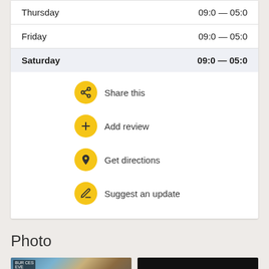| Day | Hours |
| --- | --- |
| Thursday | 09:0 — 05:0 |
| Friday | 09:0 — 05:0 |
| Saturday | 09:0 — 05:0 |
Share this
Add review
Get directions
Suggest an update
Photo
[Figure (photo): Two thumbnail photos below the Photo section header]